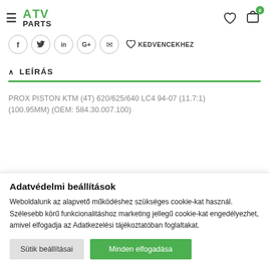[Figure (logo): ATV Parts logo with green stylized ATV letters and black PARTS text]
[Figure (infographic): Social sharing icons: Facebook (f), Twitter (bird), LinkedIn (in), Google+ (G+), Email (envelope), and KEDVENCEKHEZ (favorites) heart button]
LEÍRÁS
PROX PISTON KTM (4T) 620/625/640 LC4 94-07 (11.7:1) (100.95MM) (OEM: 584.30.007.100)
Adatvédelmi beállítások
Weboldalunk az alapvető működéshez szükséges cookie-kat használ. Szélesebb körű funkcionalitáshoz marketing jellegű cookie-kat engedélyezhet, amivel elfogadja az Adatkezelési tájékoztatóban foglaltakat.